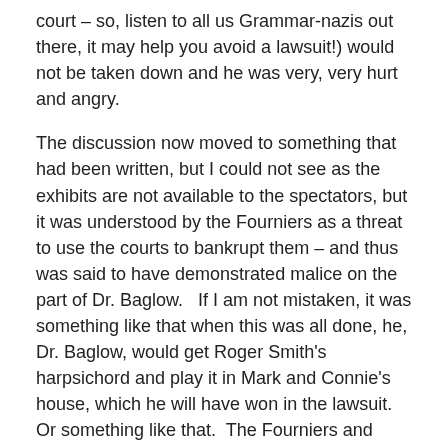court – so, listen to all us Grammar-nazis out there, it may help you avoid a lawsuit!) would not be taken down and he was very, very hurt and angry.
The discussion now moved to something that had been written, but I could not see as the exhibits are not available to the spectators, but it was understood by the Fourniers as a threat to use the courts to bankrupt them – and thus was said to have demonstrated malice on the part of Dr. Baglow.   If I am not mistaken, it was something like that when this was all done, he, Dr. Baglow, would get Roger Smith's harpsichord and play it in Mark and Connie's house, which he will have won in the lawsuit.  Or something like that.  The Fourniers and Roger Smith took this to be a threat of lawfare – where the process is as much of a punishment as any potential outcome (and